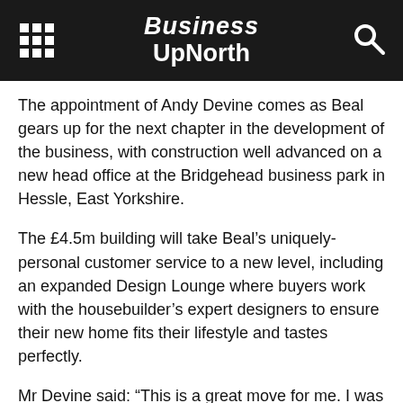Business UpNorth
The appointment of Andy Devine comes as Beal gears up for the next chapter in the development of the business, with construction well advanced on a new head office at the Bridgehead business park in Hessle, East Yorkshire.
The £4.5m building will take Beal's uniquely-personal customer service to a new level, including an expanded Design Lounge where buyers work with the housebuilder's expert designers to ensure their new home fits their lifestyle and tastes perfectly.
Mr Devine said: “This is a great move for me. I was attracted by the opportunity to move from a national Plc to join a growing, independent housebuilder that has such a strong commitment to building homes based on the wants and needs of buyers.
“There are very few housebuilders that are as ambitious as Beal or have such dedication to quality.